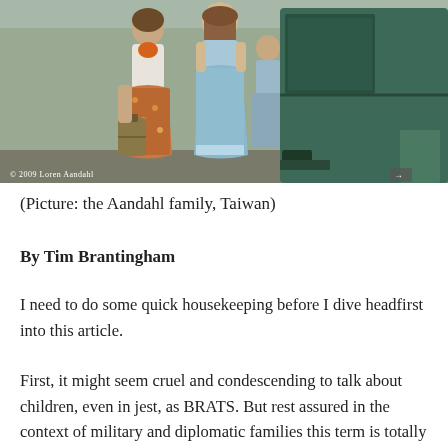[Figure (photo): Vintage color photograph of the Aandahl family in Taiwan, showing a woman in a floral skirt and white top with orange scarf holding a suitcase, a girl in a light blue dress, and a child, standing near a green truck. Photo credit: © 2009 Loren Aandahl]
(Picture: the Aandahl family, Taiwan)
By Tim Brantingham
I need to do some quick housekeeping before I dive headfirst into this article.
First, it might seem cruel and condescending to talk about children, even in jest, as BRATS. But rest assured in the context of military and diplomatic families this term is totally OK; it is kosher, accepted, even deeply embraced. It